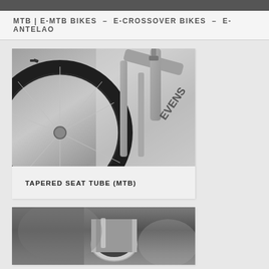MTB | E-MTB BIKES  –  E-CROSSOVER BIKES  –  E-ANTELAO
[Figure (photo): Close-up photo of a mountain bike frame showing the tapered seat tube area, fork, and wheel with knobby tire. The frame appears to be silver/titanium colored with a brand name visible on the down tube.]
TAPERED SEAT TUBE (MTB)
[Figure (photo): Black and white close-up photo of a bicycle tube component, partially visible at the bottom of the page.]